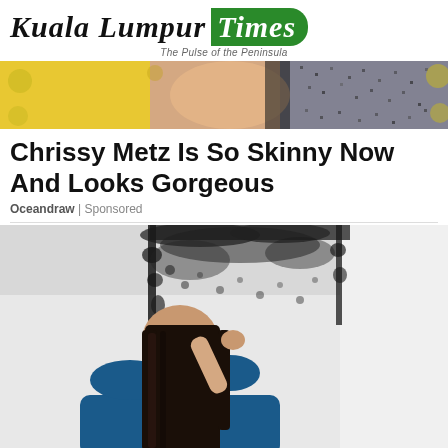Kuala Lumpur Times — The Pulse of the Peninsula
[Figure (photo): Banner advertisement image showing a person's head with sequined/metallic fabric and yellow background]
Chrissy Metz Is So Skinny Now And Looks Gorgeous
Oceandraw | Sponsored
[Figure (photo): Woman with long dark hair viewed from behind, looking at black mold on white walls and ceiling corner]